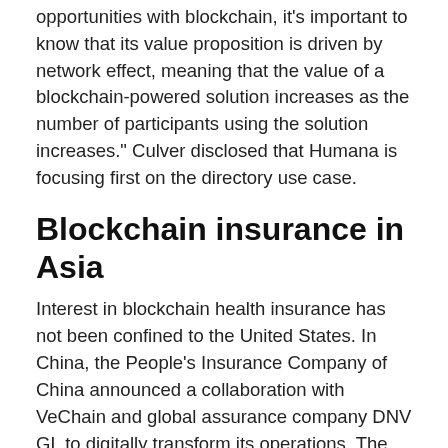opportunities with blockchain, it's important to know that its value proposition is driven by network effect, meaning that the value of a blockchain-powered solution increases as the number of participants using the solution increases." Culver disclosed that Humana is focusing first on the directory use case.
Blockchain insurance in Asia
Interest in blockchain health insurance has not been confined to the United States. In China, the People's Insurance Company of China announced a collaboration with VeChain and global assurance company DNV GL to digitally transform its operations. The VeChainThor enterprise platform and its smart contract capability would be leveraged to bring greater efficiency to data collection, processing and auditing.
In June 2018, Alibaba-associated tech firm ZhongAn announced that the development of a blockchain-powered insurance platform and over 100 Chinese hospitals had